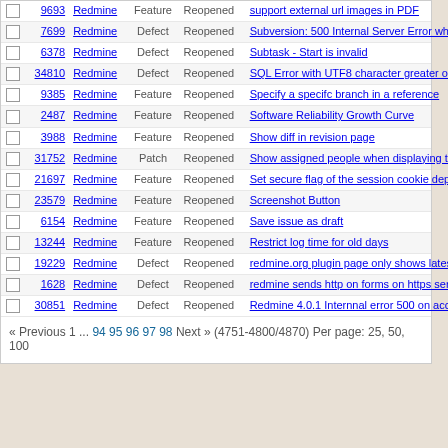|  | # | Project | Tracker | Status | Subject |
| --- | --- | --- | --- | --- | --- |
|  | 9693 | Redmine | Feature | Reopened | support external url images in PDF |
|  | 7699 | Redmine | Defect | Reopened | Subversion: 500 Internal Server Error wh... browsing a repository |
|  | 6378 | Redmine | Defect | Reopened | Subtask - Start is invalid |
|  | 34810 | Redmine | Defect | Reopened | SQL Error with UTF8 character greater o... equals |
|  | 9385 | Redmine | Feature | Reopened | Specify a specifc branch in a reference |
|  | 2487 | Redmine | Feature | Reopened | Software Reliability Growth Curve |
|  | 3988 | Redmine | Feature | Reopened | Show diff in revision page |
|  | 31752 | Redmine | Patch | Reopened | Show assigned people when displaying ti... which are related to a specific versions |
|  | 21697 | Redmine | Feature | Reopened | Set secure flag of the session cookie dep... on original request |
|  | 23579 | Redmine | Feature | Reopened | Screenshot Button |
|  | 6154 | Redmine | Feature | Reopened | Save issue as draft |
|  | 13244 | Redmine | Feature | Reopened | Restrict log time for old days |
|  | 19229 | Redmine | Defect | Reopened | redmine.org plugin page only shows lates... version compatibility |
|  | 1628 | Redmine | Defect | Reopened | redmine sends http on forms on https ser... |
|  | 30851 | Redmine | Defect | Reopened | Redmine 4.0.1 Internnal error 500 on acc... the settings page |
« Previous 1 ... 94 95 96 97 98 Next » (4751-4800/4870) Per page: 25, 50, 100